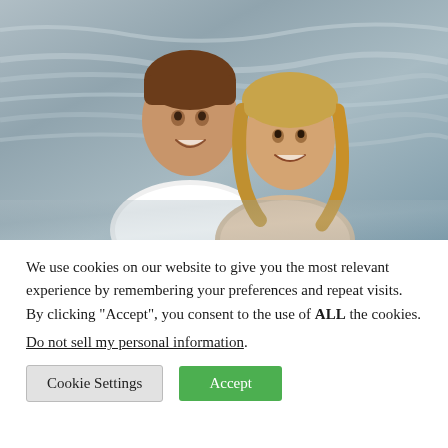[Figure (photo): A smiling couple posed together outdoors. A man in a white shirt on the left and a woman with blonde curly hair on the right, with a blurred water/ocean background.]
We use cookies on our website to give you the most relevant experience by remembering your preferences and repeat visits. By clicking “Accept”, you consent to the use of ALL the cookies.
Do not sell my personal information.
Cookie Settings
Accept